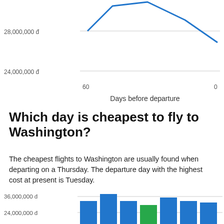[Figure (continuous-plot): Line chart (partial, top portion) showing price vs days before departure. Y-axis shows 28,000,000 đ and 24,000,000 đ. X-axis shows 60 on left and 0 on right. Blue line peaks off-screen at top and descends toward right.]
Which day is cheapest to fly to Washington?
The cheapest flights to Washington are usually found when departing on a Thursday. The departure day with the highest cost at present is Tuesday.
[Figure (bar-chart): Bar chart (partial, bottom portion) showing flight prices by day of week. Y-axis shows 36,000,000 đ and 24,000,000 đ. Green bar for Thursday (cheapest), blue bars for other days.]